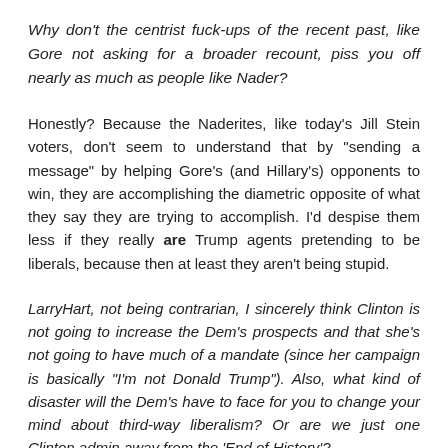Why don't the centrist fuck-ups of the recent past, like Gore not asking for a broader recount, piss you off nearly as much as people like Nader?
Honestly? Because the Naderites, like today's Jill Stein voters, don't seem to understand that by "sending a message" by helping Gore's (and Hillary's) opponents to win, they are accomplishing the diametric opposite of what they say they are trying to accomplish. I'd despise them less if they really are Trump agents pretending to be liberals, because then at least they aren't being stupid.
LarryHart, not being contrarian, I sincerely think Clinton is not going to increase the Dem's prospects and that she's not going to have much of a mandate (since her campaign is basically "I'm not Donald Trump"). Also, what kind of disaster will the Dem's have to face for you to change your mind about third-way liberalism? Or are we just one Clinton admin away from the 'End of History'?